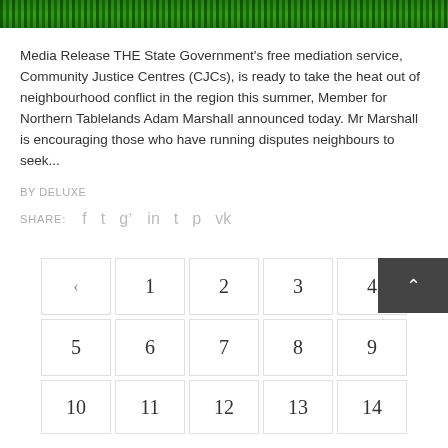[Figure (photo): Dark green foliage/grass header image banner]
Media Release THE State Government's free mediation service, Community Justice Centres (CJCs), is ready to take the heat out of neighbourhood conflict in the region this summer, Member for Northern Tablelands Adam Marshall announced today. Mr Marshall is encouraging those who have running disputes neighbours to seek...
BY DELUXE
SHARE:  f  t  g+  in  t  p  vk
< 1 2 3 4 5 6 7 8 9 10 11 12 13 14